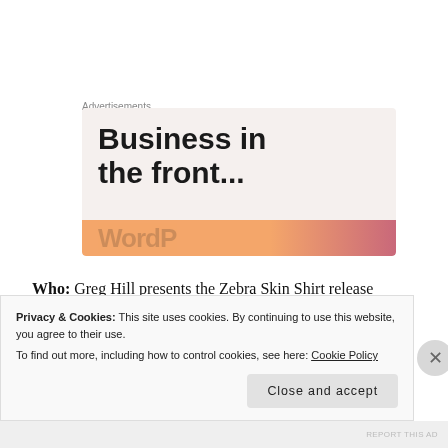Advertisements
[Figure (illustration): Advertisement banner with large bold text 'Business in the front...' on a light beige background, with an orange-to-pink gradient bar at the bottom partially showing large text.]
Who: Greg Hill presents the Zebra Skin Shirt release
When: Wednesday, 07.18, 7 p.m.
Where: Tattered Cover – Colfax location
Privacy & Cookies: This site uses cookies. By continuing to use this website, you agree to their use.
To find out more, including how to control cookies, see here: Cookie Policy
Close and accept